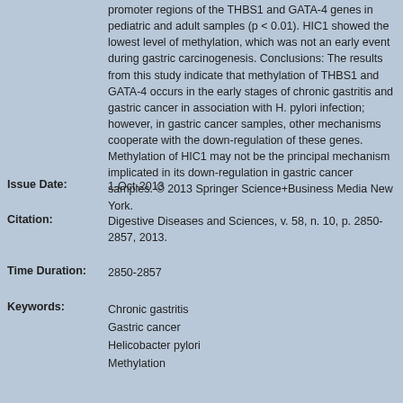promoter regions of the THBS1 and GATA-4 genes in pediatric and adult samples (p < 0.01). HIC1 showed the lowest level of methylation, which was not an early event during gastric carcinogenesis. Conclusions: The results from this study indicate that methylation of THBS1 and GATA-4 occurs in the early stages of chronic gastritis and gastric cancer in association with H. pylori infection; however, in gastric cancer samples, other mechanisms cooperate with the down-regulation of these genes. Methylation of HIC1 may not be the principal mechanism implicated in its down-regulation in gastric cancer samples. © 2013 Springer Science+Business Media New York.
Issue Date: 1-Oct-2013
Citation: Digestive Diseases and Sciences, v. 58, n. 10, p. 2850-2857, 2013.
Time Duration: 2850-2857
Keywords: Chronic gastritis
Gastric cancer
Helicobacter pylori
Methylation